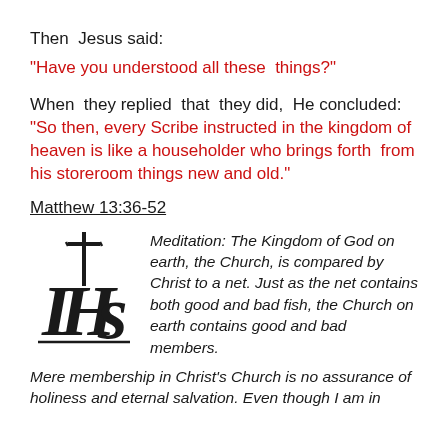Then Jesus said:
“Have you understood all these things?”
When they replied that they did, He concluded: “So then, every Scribe instructed in the kingdom of heaven is like a householder who brings forth from his storeroom things new and old.”
Matthew 13:36-52
[Figure (illustration): IHS Christogram in blackletter gothic style with a cross above the letters]
Meditation: The Kingdom of God on earth, the Church, is compared by Christ to a net. Just as the net contains both good and bad fish, the Church on earth contains good and bad members. Mere membership in Christ’s Church is no assurance of holiness and eternal salvation. Even though I am in